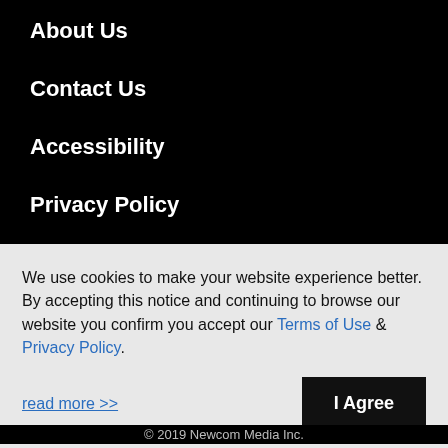About Us
Contact Us
Accessibility
Privacy Policy
Terms of Use
[Figure (illustration): Four social media icons (Facebook, Instagram, LinkedIn, Twitter) as dark circular buttons]
We use cookies to make your website experience better. By accepting this notice and continuing to browse our website you confirm you accept our Terms of Use & Privacy Policy.
read more >>
I Agree
© 2019 Newcom Media Inc.